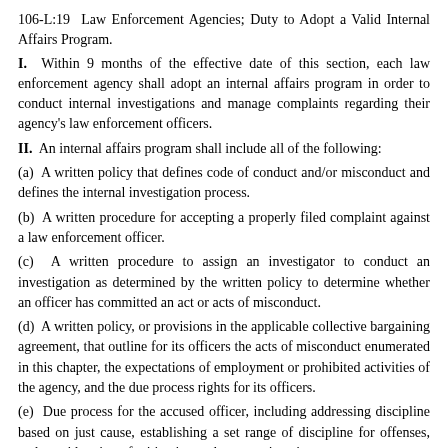106-L:19  Law Enforcement Agencies; Duty to Adopt a Valid Internal Affairs Program.
I.  Within 9 months of the effective date of this section, each law enforcement agency shall adopt an internal affairs program in order to conduct internal investigations and manage complaints regarding their agency's law enforcement officers.
II.  An internal affairs program shall include all of the following:
(a)  A written policy that defines code of conduct and/or misconduct and defines the internal investigation process.
(b)  A written procedure for accepting a properly filed complaint against a law enforcement officer.
(c)  A written procedure to assign an investigator to conduct an investigation as determined by the written policy to determine whether an officer has committed an act or acts of misconduct.
(d)  A written policy, or provisions in the applicable collective bargaining agreement, that outline for its officers the acts of misconduct enumerated in this chapter, the expectations of employment or prohibited activities of the agency, and the due process rights for its officers.
(e)  Due process for the accused officer, including addressing discipline based on just cause, establishing a set range of discipline for offenses, and consideration of mitigating and aggravating circumstances.
III.  The chief executive officer of every law enforcement agency in the state shall be responsible for the implementation of this section and shall file a...